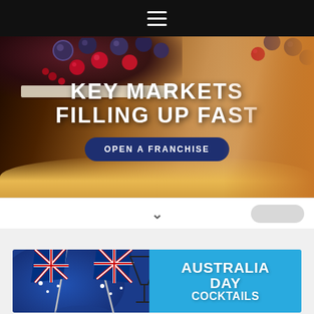[Figure (screenshot): Top black navigation bar with hamburger menu (three white horizontal lines) centered]
[Figure (photo): Hero banner with cheesecake topped with berries (raspberries, blueberries) background. White bold text reads 'KEY MARKETS FILLING UP FAST' with a dark navy button 'OPEN A FRANCHISE' below]
OPEN A FRANCHISE
[Figure (screenshot): White navigation bar with chevron down arrow centered and a grey pill/capsule shape on the right]
[Figure (photo): Australia Day banner showing crossed Australian flags on blue background on left, cyan/sky blue right side with bold white text reading 'AUSTRALIA DAY COCKTAILS']